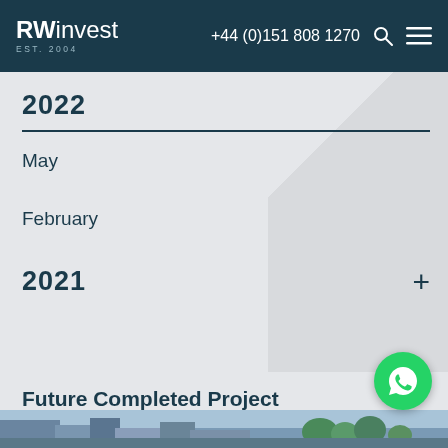RWinvest EST. 2004 | +44 (0)151 808 1270
2022
May
February
2021
Future Completed Project Visualizations
[Figure (photo): Bottom strip showing building/urban scene with trees]